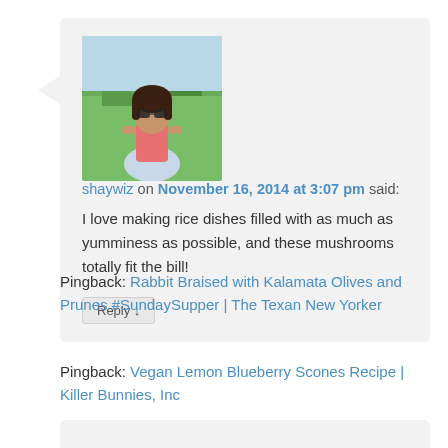[Figure (photo): Profile photo of a woman wearing sunglasses and a pink top, outdoors with greenery in the background]
shaywiz on November 16, 2014 at 3:07 pm said:
I love making rice dishes filled with as much as yumminess as possible, and these mushrooms totally fit the bill!
Reply ↓
Pingback: Rabbit Braised with Kalamata Olives and Prunes #SundaySupper | The Texan New Yorker
Pingback: Vegan Lemon Blueberry Scones Recipe | Killer Bunnies, Inc